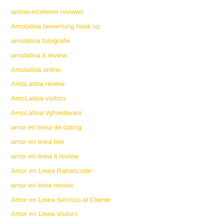amino-inceleme reviews
Amolatina bewertung hook up
amolatina fotografie
amolatina it review
Amolatina online
AmoLatina review
AmoLatina visitors
AmoLatina Vyhledavani
amor en linea de dating
amor en linea hile
amor en linea it review
Amor en Linea Rabattcode
amor en linea review
Amor en Linea Servicio al Cliente
Amor en Linea visitors